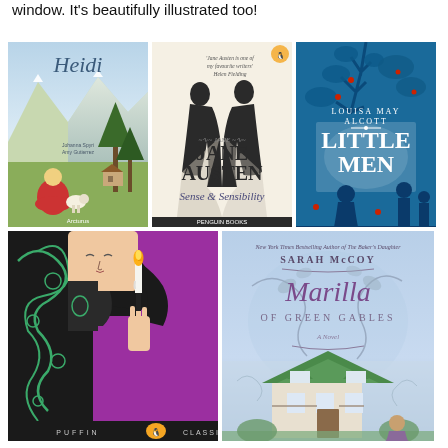window. It's beautifully illustrated too!
[Figure (photo): Book cover of Heidi - illustrated cover with a girl sitting in an alpine meadow with mountains behind, title in cursive script]
[Figure (photo): Book cover of Sense and Sensibility by Jane Austen - Penguin edition with two Regency women silhouette illustration on cream background]
[Figure (photo): Book cover of Little Men by Louisa May Alcott - blue and white silhouette illustration of children and trees]
[Figure (photo): Book cover of a Puffin Classics edition - gothic style illustration of a dark-haired girl holding a candle on purple/magenta background]
[Figure (photo): Book cover of Marilla of Green Gables by Sarah McCoy - light blue cover with farmhouse and floral decorations]